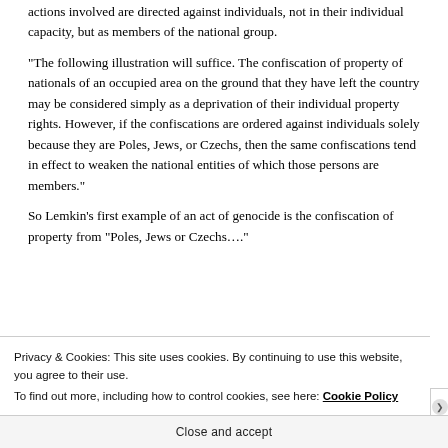actions involved are directed against individuals, not in their individual capacity, but as members of the national group.
“The following illustration will suffice. The confiscation of property of nationals of an occupied area on the ground that they have left the country may be considered simply as a deprivation of their individual property rights. However, if the confiscations are ordered against individuals solely because they are Poles, Jews, or Czechs, then the same confiscations tend in effect to weaken the national entities of which those persons are members.”
So Lemkin’s first example of an act of genocide is the confiscation of property from “Poles, Jews or Czechs….”
Privacy & Cookies: This site uses cookies. By continuing to use this website, you agree to their use.
To find out more, including how to control cookies, see here: Cookie Policy
Close and accept